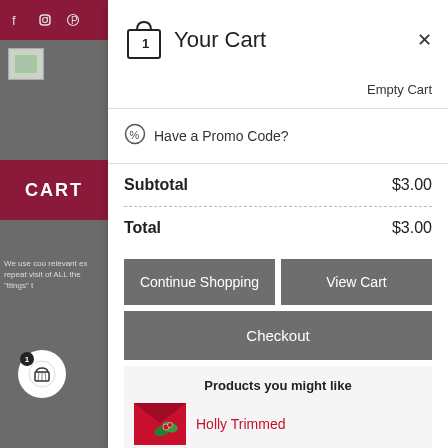[Figure (screenshot): Left side panel showing a website background with dark red top bar with social icons (Facebook, Instagram, Pinterest), a small image thumbnail, a dark red CART bar, cookie notice text, and a cart circle badge with number 1]
Your Cart
Empty Cart
Have a Promo Code?
| Subtotal | $3.00 |
| Total | $3.00 |
Continue Shopping
View Cart
Checkout
Products you might like
Holly Trimmed